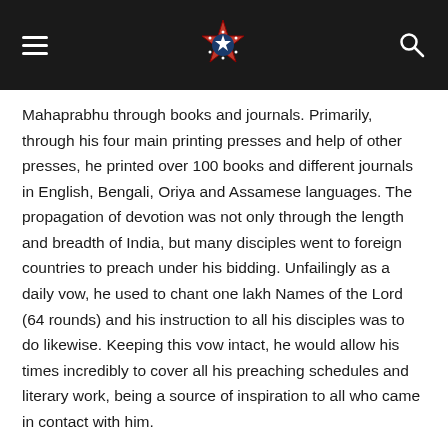Navigation header with hamburger menu, star logo, and search icon
Mahaprabhu through books and journals. Primarily, through his four main printing presses and help of other presses, he printed over 100 books and different journals in English, Bengali, Oriya and Assamese languages. The propagation of devotion was not only through the length and breadth of India, but many disciples went to foreign countries to preach under his bidding. Unfailingly as a daily vow, he used to chant one lakh Names of the Lord (64 rounds) and his instruction to all his disciples was to do likewise. Keeping this vow intact, he would allow his times incredibly to cover all his preaching schedules and literary work, being a source of inspiration to all who came in contact with him.
Sri Srila Prabhupada, on noticing any deviance to the doctrine of pure devotion, would be prompt to refute all such